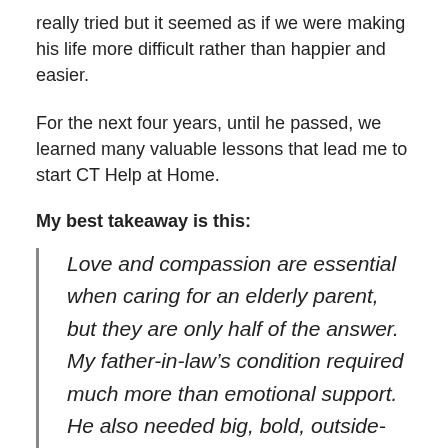really tried but it seemed as if we were making his life more difficult rather than happier and easier.
For the next four years, until he passed, we learned many valuable lessons that lead me to start CT Help at Home.
My best takeaway is this:
Love and compassion are essential when caring for an elderly parent, but they are only half of the answer. My father-in-law’s condition required much more than emotional support. He also needed big, bold, outside-the-box